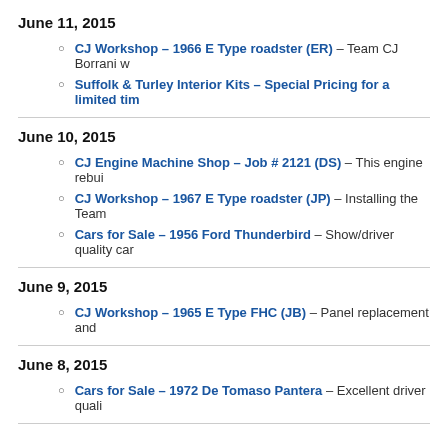June 11, 2015
CJ Workshop – 1966 E Type roadster (ER) – Team CJ Borrani w
Suffolk & Turley Interior Kits – Special Pricing for a limited tim
June 10, 2015
CJ Engine Machine Shop – Job # 2121 (DS) – This engine rebui
CJ Workshop – 1967 E Type roadster (JP) – Installing the Team
Cars for Sale – 1956 Ford Thunderbird – Show/driver quality car
June 9, 2015
CJ Workshop – 1965 E Type FHC (JB) – Panel replacement and
June 8, 2015
Cars for Sale – 1972 De Tomaso Pantera – Excellent driver quali